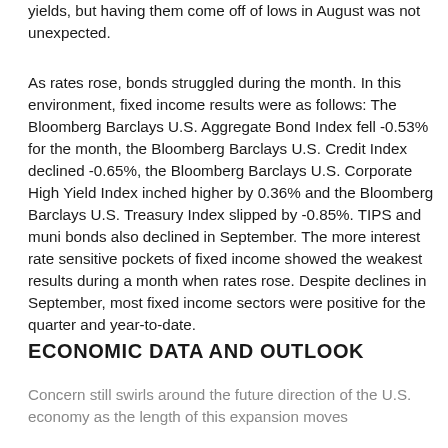yields, but having them come off of lows in August was not unexpected.
As rates rose, bonds struggled during the month. In this environment, fixed income results were as follows: The Bloomberg Barclays U.S. Aggregate Bond Index fell -0.53% for the month, the Bloomberg Barclays U.S. Credit Index declined -0.65%, the Bloomberg Barclays U.S. Corporate High Yield Index inched higher by 0.36% and the Bloomberg Barclays U.S. Treasury Index slipped by -0.85%. TIPS and muni bonds also declined in September. The more interest rate sensitive pockets of fixed income showed the weakest results during a month when rates rose. Despite declines in September, most fixed income sectors were positive for the quarter and year-to-date.
ECONOMIC DATA AND OUTLOOK
Concern still swirls around the future direction of the U.S. economy as the length of this expansion moves